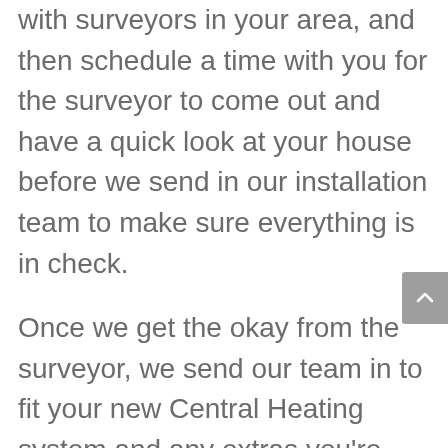with surveyors in your area, and then schedule a time with you for the surveyor to come out and have a quick look at your house before we send in our installation team to make sure everything is in check.
Once we get the okay from the surveyor, we send our team in to fit your new Central Heating system and any extras you're entitled to, such as cavity wall insulation or underfloor insulation.
Then we handle all of the paperwork